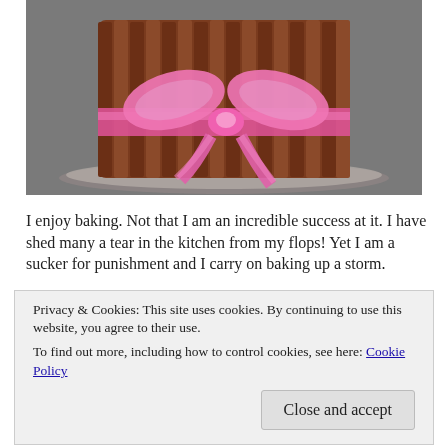[Figure (photo): A chocolate cake decorated with chocolate bar pieces standing upright around the outside, tied with a large pink ribbon bow, sitting on a glass plate on a gray surface.]
I enjoy baking. Not that I am an incredible success at it. I have shed many a tear in the kitchen from my flops! Yet I am a sucker for punishment and I carry on baking up a storm.
Privacy & Cookies: This site uses cookies. By continuing to use this website, you agree to their use.
To find out more, including how to control cookies, see here: Cookie Policy